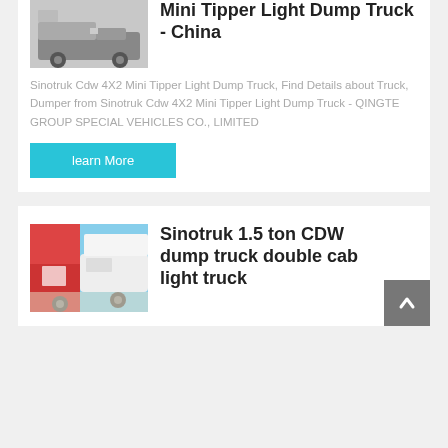[Figure (photo): Dump truck photo thumbnail - Sinotruk CDW 4X2 Mini Tipper Light Dump Truck]
Mini Tipper Light Dump Truck - China
Sinotruk Cdw 4X2 Mini Tipper Light Dump Truck, Find Details about Truck, Dumper from Sinotruk Cdw 4X2 Mini Tipper Light Dump Truck - QINGTE GROUP SPECIAL VEHICLES CO., LIMITED
learn More
[Figure (photo): Sinotruk 1.5 ton CDW dump truck double cab light truck - white truck photo thumbnail]
Sinotruk 1.5 ton CDW dump truck double cab light truck